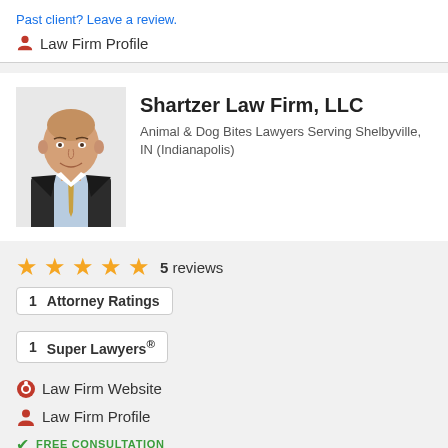Past client? Leave a review.
Law Firm Profile
Shartzer Law Firm, LLC
Animal & Dog Bites Lawyers Serving Shelbyville, IN (Indianapolis)
[Figure (photo): Headshot of a bald man in a dark suit and light blue shirt with a gold tie, smiling, professional portrait]
5  reviews
1  Attorney Ratings
1  Super Lawyers
Law Firm Website
Law Firm Profile
FREE CONSULTATION